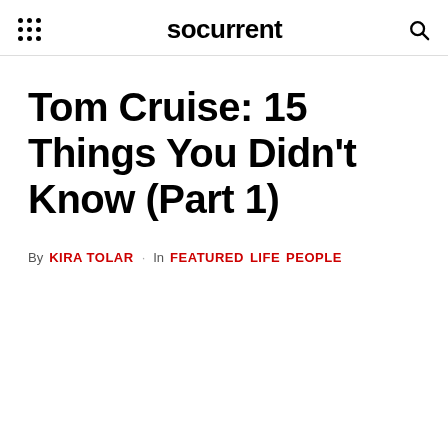socurrent
Tom Cruise: 15 Things You Didn't Know (Part 1)
By KIRA TOLAR · In FEATURED LIFE PEOPLE